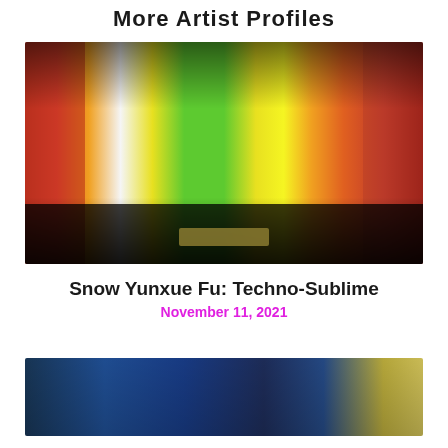More Artist Profiles
[Figure (photo): Interior view of an art gallery installation with colorful large-scale paintings on walls, showing a perspective view down the gallery corridor with dark floor and ceiling.]
Snow Yunxue Fu: Techno-Sublime
November 11, 2021
[Figure (photo): Partial view of another artwork or gallery installation with blue and yellow tones.]